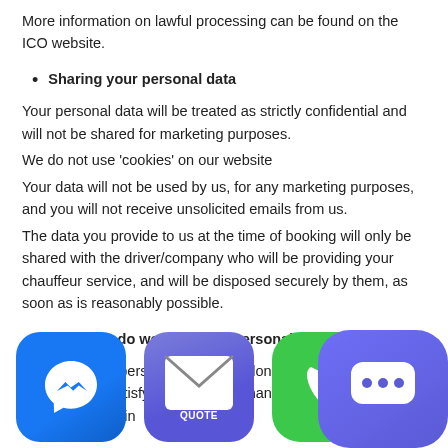More information on lawful processing can be found on the ICO website.
Sharing your personal data
Your personal data will be treated as strictly confidential and will not be shared for marketing purposes.
We do not use ‘cookies’ on our website
Your data will not be used by us, for any marketing purposes, and you will not receive unsolicited emails from us.
The data you provide to us at the time of booking will only be shared with the driver/company who will be providing your chauffeur service, and will be disposed securely by them, as soon as is reasonably possible.
How long do we hold your personal data?
[We keep your personal data for no longer than reasonably necessary to satisfy the legal and financial responsibilities we have described in